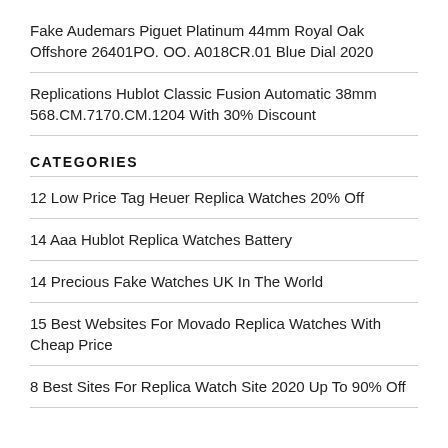Fake Audemars Piguet Platinum 44mm Royal Oak Offshore 26401PO. OO. A018CR.01 Blue Dial 2020
Replications Hublot Classic Fusion Automatic 38mm 568.CM.7170.CM.1204 With 30% Discount
CATEGORIES
12 Low Price Tag Heuer Replica Watches 20% Off
14 Aaa Hublot Replica Watches Battery
14 Precious Fake Watches UK In The World
15 Best Websites For Movado Replica Watches With Cheap Price
8 Best Sites For Replica Watch Site 2020 Up To 90% Off